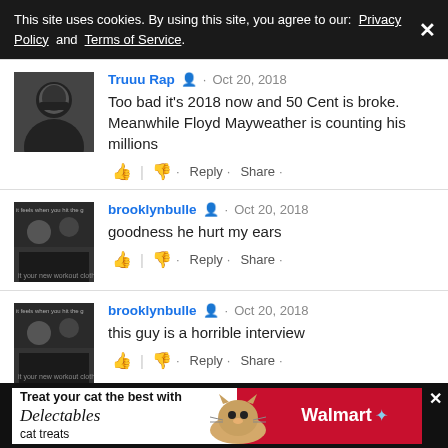This site uses cookies. By using this site, you agree to our: Privacy Policy and Terms of Service.
Truuu Rap · Oct 20, 2018
Too bad it's 2018 now and 50 Cent is broke. Meanwhile Floyd Mayweather is counting his millions
brooklynbulle · Oct 20, 2018
goodness he hurt my ears
brooklynbulle · Oct 20, 2018
this guy is a horrible interview
[Figure (infographic): Walmart Delectables cat food advertisement banner at bottom of page]